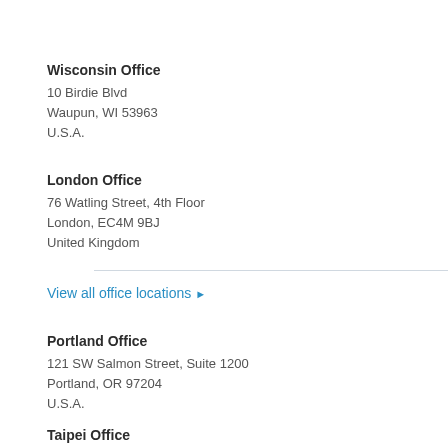Wisconsin Office
10 Birdie Blvd
Waupun, WI 53963
U.S.A.
London Office
76 Watling Street, 4th Floor
London, EC4M 9BJ
United Kingdom
View all office locations ▶
Portland Office
121 SW Salmon Street, Suite 1200
Portland, OR 97204
U.S.A.
Taipei Office